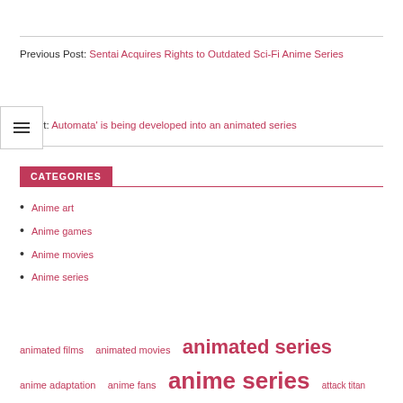Previous Post: Sentai Acquires Rights to Outdated Sci-Fi Anime Series
Next Post: Automata' is being developed into an animated series
CATEGORIES
Anime art
Anime games
Anime movies
Anime series
animated films  animated movies  animated series  anime adaptation  anime fans  anime series  attack titan